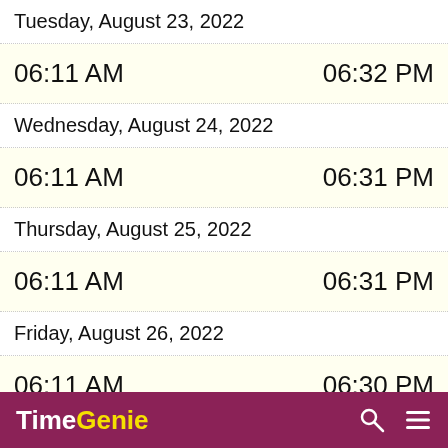Tuesday, August 23, 2022
06:11 AM   06:32 PM
Wednesday, August 24, 2022
06:11 AM   06:31 PM
Thursday, August 25, 2022
06:11 AM   06:31 PM
Friday, August 26, 2022
06:11 AM   06:30 PM
Saturday, August 27, 2022
TimeGenie